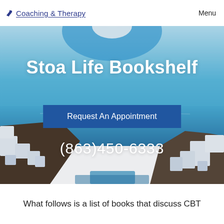Coaching & Therapy  Menu
[Figure (photo): Background photo of Santorini, Greece — white buildings cascading down cliffs to a blue sea under a bright sky with sun flare. Overlaid with large white text 'Stoa Life Bookshelf', a blue 'Request An Appointment' button, and phone number '(863)450-6333'.]
Stoa Life Bookshelf
Request An Appointment
(863)450-6333
What follows is a list of books that discuss CBT